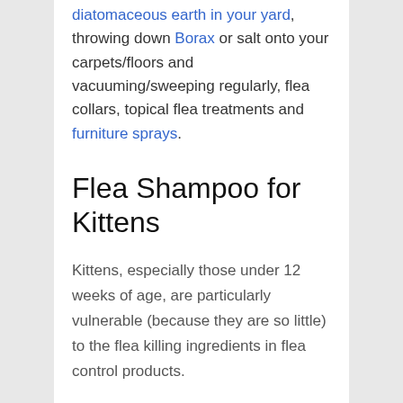diatomaceous earth in your yard, throwing down Borax or salt onto your carpets/floors and vacuuming/sweeping regularly, flea collars, topical flea treatments and furniture sprays.
Flea Shampoo for Kittens
Kittens, especially those under 12 weeks of age, are particularly vulnerable (because they are so little) to the flea killing ingredients in flea control products.